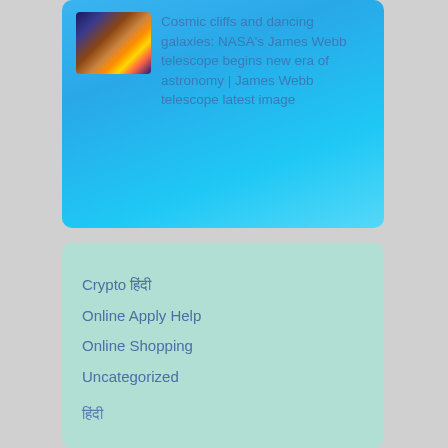[Figure (screenshot): Thumbnail image of cosmic cliffs nebula — space image with orange, brown, and blue star-forming region]
Cosmic cliffs and dancing galaxies: NASA's James Webb telescope begins new era of astronomy | James Webb telescope latest image
Crypto हिंदी
Online Apply Help
Online Shopping
Uncategorized
हिंदी